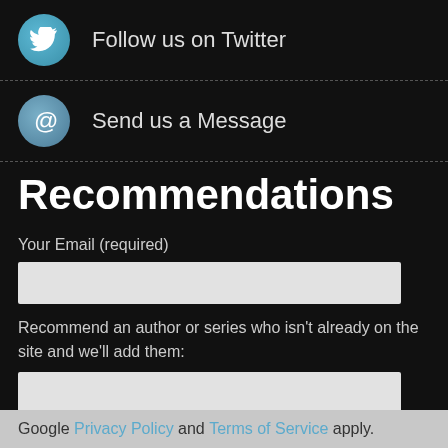Follow us on Twitter
Send us a Message
Recommendations
Your Email (required)
Recommend an author or series who isn't already on the site and we'll add them:
SEND
This site is protected by reCAPTCHA and the Google Privacy Policy and Terms of Service apply.